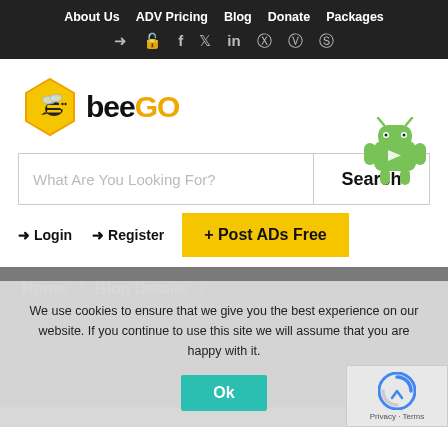About Us  ADV Pricing  Blog  Donate  Packages
[Figure (logo): BeeGo logo with bee icon hexagon and text 'beeGO']
What Are You Looking For?
Search
Login  Register  + Post ADs Free
Home / Blog Details /
We use cookies to ensure that we give you the best experience on our website. If you continue to use this site we will assume that you are happy with it.
Ok